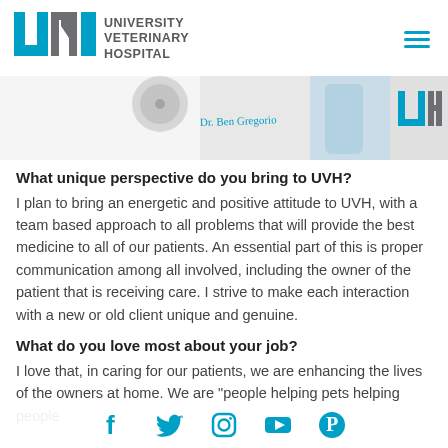[Figure (logo): University Veterinary Hospital (UVH) logo with teal U, grey M, teal H letters and text 'UNIVERSITY VETERINARY HOSPITAL']
[Figure (photo): Banner photo showing veterinary hospital items: lab coat with name tag 'Dr. Ben Gregorio', stethoscope, blue bottle, UVH branded item]
What unique perspective do you bring to UVH?
I plan to bring an energetic and positive attitude to UVH, with a team based approach to all problems that will provide the best medicine to all of our patients. An essential part of this is proper communication among all involved, including the owner of the patient that is receiving care. I strive to make each interaction with a new or old client unique and genuine.
What do you love most about your job?
I love that, in caring for our patients, we are enhancing the lives of the owners at home. We are "people helping pets helping people"
[Figure (infographic): Social media icons row: Facebook, Twitter, Instagram, YouTube, Pinterest — all in teal/cyan color]